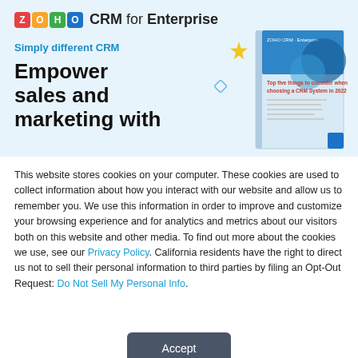[Figure (screenshot): Zoho CRM for Enterprise banner with tagline 'Simply different CRM', headline 'Empower sales and marketing with', decorative star and diamond shapes, and a book cover image reading 'Top five things to consider when choosing a CRM System in 2022']
This website stores cookies on your computer. These cookies are used to collect information about how you interact with our website and allow us to remember you. We use this information in order to improve and customize your browsing experience and for analytics and metrics about our visitors both on this website and other media. To find out more about the cookies we use, see our Privacy Policy. California residents have the right to direct us not to sell their personal information to third parties by filing an Opt-Out Request: Do Not Sell My Personal Info.
Accept